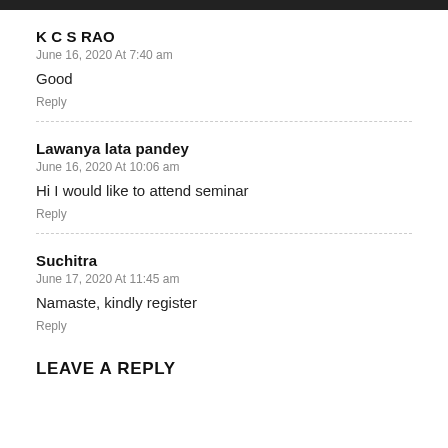K C S RAO
June 16, 2020 At 7:40 am
Good
Reply
Lawanya lata pandey
June 16, 2020 At 10:06 am
Hi I would like to attend seminar
Reply
Suchitra
June 17, 2020 At 11:45 am
Namaste, kindly register
Reply
LEAVE A REPLY